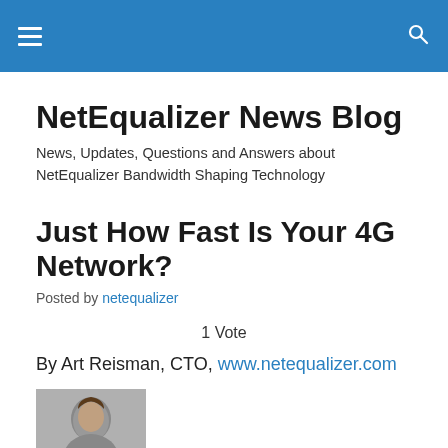NetEqualizer News Blog (navigation bar with hamburger menu and search icon)
NetEqualizer News Blog
News, Updates, Questions and Answers about NetEqualizer Bandwidth Shaping Technology
Just How Fast Is Your 4G Network?
Posted by netequalizer
1 Vote
By Art Reisman, CTO, www.netequalizer.com
[Figure (photo): Author photo of Art Reisman, a person with medium-length hair, partially visible at bottom of page]